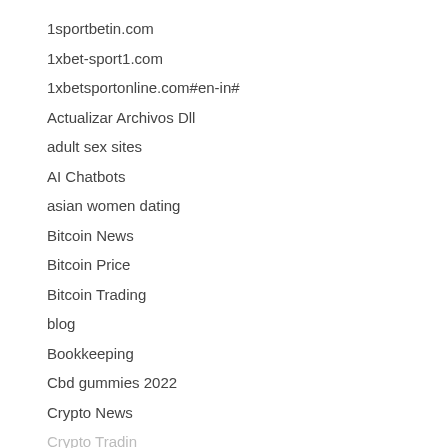1sportbetin.com
1xbet-sport1.com
1xbetsportonline.com#en-in#
Actualizar Archivos Dll
adult sex sites
AI Chatbots
asian women dating
Bitcoin News
Bitcoin Price
Bitcoin Trading
blog
Bookkeeping
Cbd gummies 2022
Crypto News
Crypto Trading